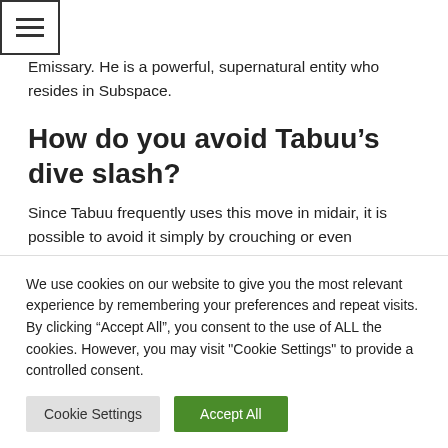[Figure (other): Hamburger menu icon — three horizontal lines inside a square border]
Emissary. He is a powerful, supernatural entity who resides in Subspace.
How do you avoid Tabuu’s dive slash?
Since Tabuu frequently uses this move in midair, it is possible to avoid it simply by crouching or even
We use cookies on our website to give you the most relevant experience by remembering your preferences and repeat visits. By clicking “Accept All”, you consent to the use of ALL the cookies. However, you may visit "Cookie Settings" to provide a controlled consent.